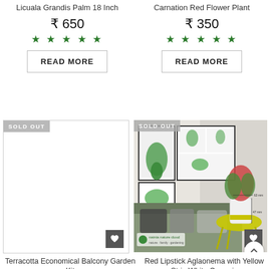Licuala Grandis Palm 18 Inch
₹ 650
★★★★★
READ MORE
Carnation Red Flower Plant
₹ 350
★★★★★
READ MORE
[Figure (photo): SOLD OUT card with white blank product image, heart icon at bottom right]
[Figure (photo): SOLD OUT card showing Red Lipstick Aglaonema plant in white ceramic pot with yellow strip on yellow table, with plant poster prints on wall in background, heart icon and back-to-top button]
Terracotta Economical Balcony Garden Kit
Red Lipstick Aglaonema with Yellow Strip White Ceramic